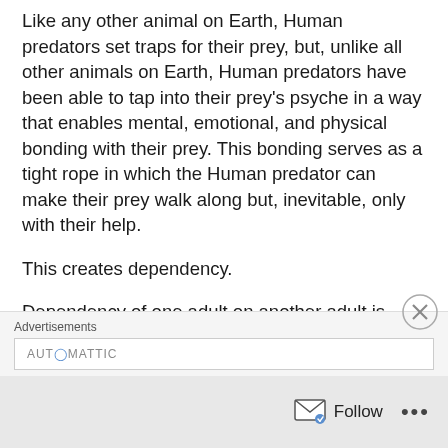Like any other animal on Earth, Human predators set traps for their prey, but, unlike all other animals on Earth, Human predators have been able to tap into their prey's psyche in a way that enables mental, emotional, and physical bonding with their prey.  This bonding serves as a tight rope in which the Human predator can make their prey walk along but, inevitable, only with their help.
This creates dependency.
Dependency of one adult on another adult is taxing to all.  Human predators are no different.  They can be worn down.  BEWARE:  Human
Advertisements
AUTOMATTIC